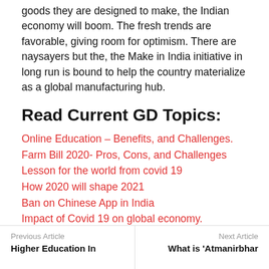goods they are designed to make, the Indian economy will boom. The fresh trends are favorable, giving room for optimism. There are naysayers but the, the Make in India initiative in long run is bound to help the country materialize as a global manufacturing hub.
Read Current GD Topics:
Online Education – Benefits, and Challenges.
Farm Bill 2020- Pros, Cons, and Challenges
Lesson for the world from covid 19
How 2020 will shape 2021
Ban on Chinese App in India
Impact of Covid 19 on global economy.
Previous Article – Higher Education In
Next Article – What is 'Atmanirbhar